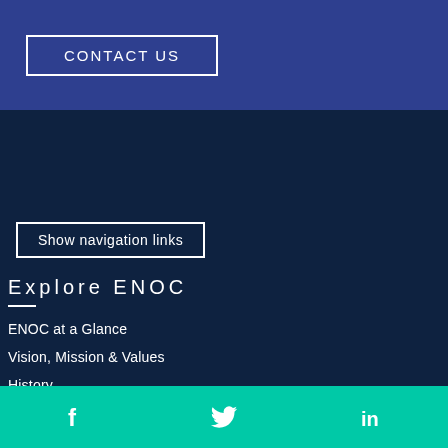CONTACT US
Show navigation links
Explore ENOC
ENOC at a Glance
Vision, Mission & Values
History
Group CEO's Message
Executive Management
f  (Twitter bird)  in